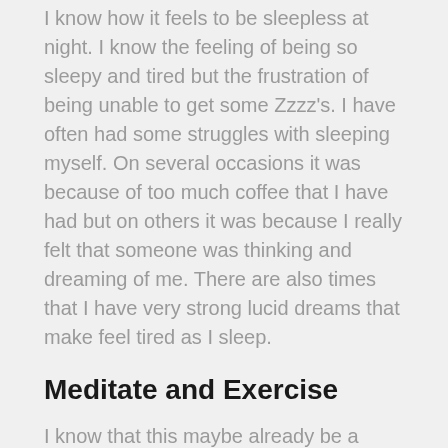I know how it feels to be sleepless at night. I know the feeling of being so sleepy and tired but the frustration of being unable to get some Zzzz's. I have often had some struggles with sleeping myself. On several occasions it was because of too much coffee that I have had but on others it was because I really felt that someone was thinking and dreaming of me. There are also times that I have very strong lucid dreams that make feel tired as I sleep.
Meditate and Exercise
I know that this maybe already be a cliché but meditation is the key to almost all psychological and sleep problems. Calming your soul and allowing all the thoughts and worries to be removed from your mind while you are awake